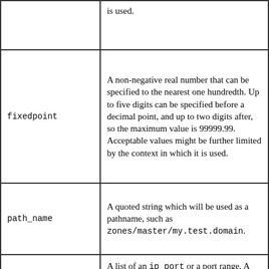| Type | Description |
| --- | --- |
|  | is used. |
| fixedpoint | A non-negative real number that can be specified to the nearest one hundredth. Up to five digits can be specified before a decimal point, and up to two digits after, so the maximum value is 99999.99. Acceptable values might be further limited by the context in which it is used. |
| path_name | A quoted string which will be used as a pathname, such as zones/master/my.test.domain. |
|  | A list of an ip_port or a port range. A port range is specified in the form of range followed by two ip_ports, port_low and port_high, which represents |